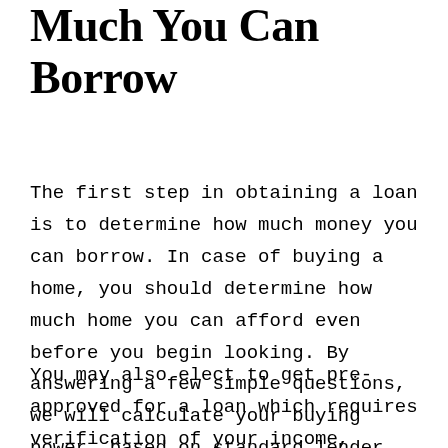Much You Can Borrow
The first step in obtaining a loan is to determine how much money you can borrow. In case of buying a home, you should determine how much home you can afford even before you begin looking. By answering a few simple questions, we will calculate your buying power, based on standard lender guidelines.
You may also elect to get pre-approved for a loan which requires verification of your income, credit, assets and liabilities. It is recommended that...